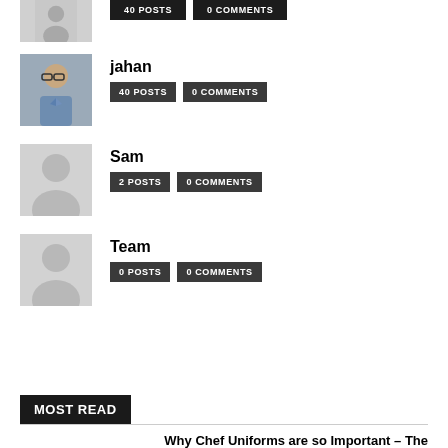[Figure (photo): Partial top profile row with dark avatar and two dark badge buttons]
[Figure (photo): Profile photo of a man with glasses in a blue shirt — jahan]
jahan
40 POSTS   0 COMMENTS
[Figure (illustration): Grey silhouette avatar placeholder for Sam]
Sam
2 POSTS   0 COMMENTS
[Figure (illustration): Grey silhouette avatar placeholder for Team]
Team
0 POSTS   0 COMMENTS
MOST READ
Why Chef Uniforms are so Important – The